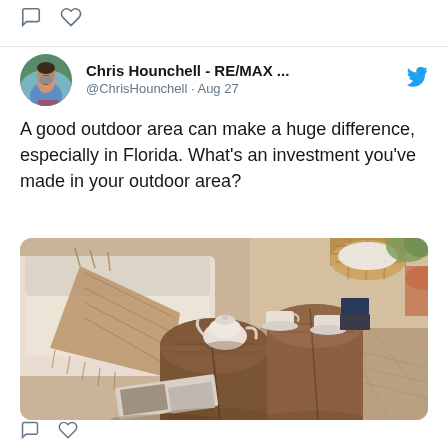[Figure (screenshot): Twitter/social media post by Chris Hounchell - RE/MAX with avatar, tweet text about outdoor area, and photo of rustic outdoor furniture with wooden log tables, cups, and white sofa]
Chris Hounchell - RE/MAX ...
@ChrisHounchell · Aug 27
A good outdoor area can make a huge difference, especially in Florida. What's an investment you've made in your outdoor area?